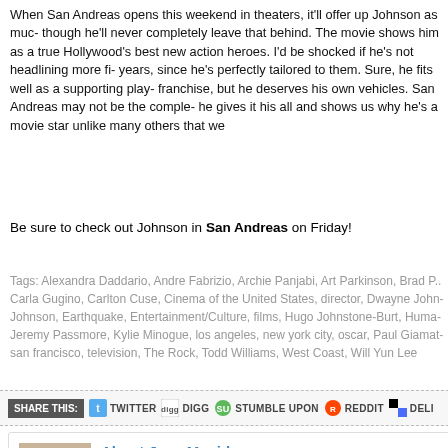When San Andreas opens this weekend in theaters, it'll offer up Johnson as muc- though he'll never completely leave that behind. The movie shows him as a true Hollywood's best new action heroes. I'd be shocked if he's not headlining more fi- years, since he's perfectly tailored to them. Sure, he fits well as a supporting play- franchise, but he deserves his own vehicles. San Andreas may not be the comple- he gives it his all and shows us why he's a movie star unlike many others that we
Be sure to check out Johnson in San Andreas on Friday!
Tags: Alexandra Daddario, Andre Fabrizio, Archie Panjabi, Art Parkinson, Brad P... Carla Gugino, Carlton Cuse, Cinema of the United States, director, Dwayne John- Johnson, Earthquake, Entertainment/Culture, films, Hugo Johnstone-Burt, Huma- Jeremy Passmore, Kylie Minogue, los angeles, new york city, oscar, Paul Giamat- san francisco, television, The Rock, Todd Williams, West Coast, Will Yun Lee
[Figure (infographic): Share this bar with icons for TWITTER, DIGG, STUMBLE UPON, REDDIT, DELI]
[Figure (photo): Headshot photo of Joey Magidson]
About Joey Magidson
A graduate of Stony Brook University (where he studied Cinema a- in Brooklyn, New York. He contributes to several other film-related the Broadcast Film Critics Association. View